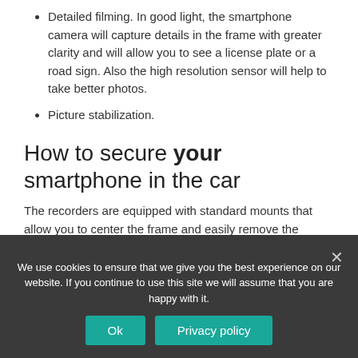Detailed filming. In good light, the smartphone camera will capture details in the frame with greater clarity and will allow you to see a license plate or a road sign. Also the high resolution sensor will help to take better photos.
Picture stabilization.
How to secure your smartphone in the car
The recorders are equipped with standard mounts that allow you to center the frame and easily remove the
We use cookies to ensure that we give you the best experience on our website. If you continue to use this site we will assume that you are happy with it.